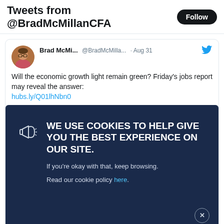Tweets from @BradMcMillanCFA
[Figure (screenshot): Twitter/social media screenshot showing a tweet by Brad McMi... @BradMcMilla... · Aug 31 with a cookie consent overlay. Tweet text: 'Will the economic growth light remain green? Friday's jobs report may reveal the answer: hubs.ly/Q01lhNbn0'. Overlay text: 'WE USE COOKIES TO HELP GIVE YOU THE BEST EXPERIENCE ON OUR SITE. If you're okay with that, keep browsing. Read our cookie policy here.']